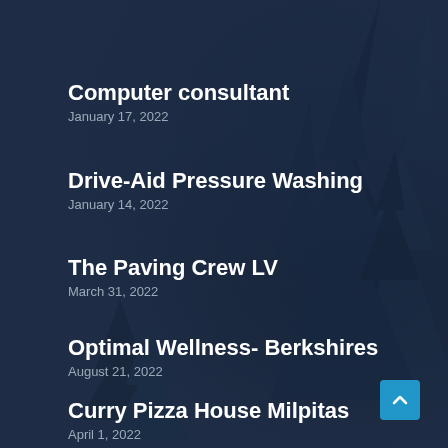[Figure (illustration): Dark navy blue background with silhouettes of pine/fir trees creating a forest scene]
Computer consultant
January 17, 2022
Drive-Aid Pressure Washing
January 14, 2022
The Paving Crew LV
March 31, 2022
Optimal Wellness- Berkshires
August 21, 2022
Curry Pizza House Milpitas
April 1, 2022